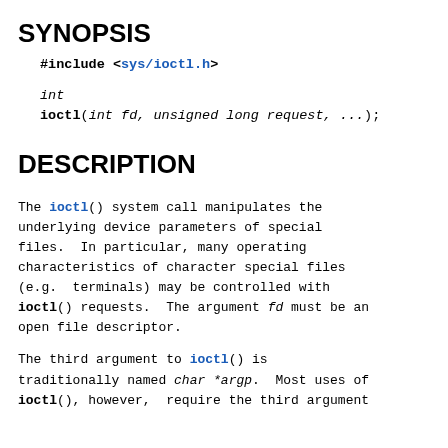SYNOPSIS
#include <sys/ioctl.h>
DESCRIPTION
The ioctl() system call manipulates the underlying device parameters of special files. In particular, many operating characteristics of character special files (e.g. terminals) may be controlled with ioctl() requests. The argument fd must be an open file descriptor.
The third argument to ioctl() is traditionally named char *argp. Most uses of ioctl(), however, require the third argument